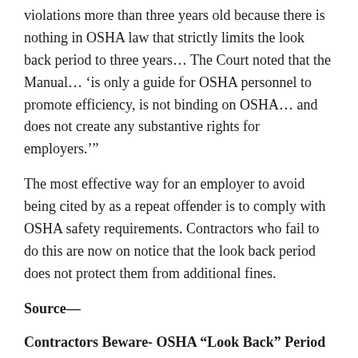violations more than three years old because there is nothing in OSHA law that strictly limits the look back period to three years… The Court noted that the Manual… 'is only a guide for OSHA personnel to promote efficiency, is not binding on OSHA… and does not create any substantive rights for employers.'"
The most effective way for an employer to avoid being cited by as a repeat offender is to comply with OSHA safety requirements. Contractors who fail to do this are now on notice that the look back period does not protect them from additional fines.
Source—
Contractors Beware- OSHA “Look Back” Period for Repeat Violations May Not Be What It Seems, Hirschler Fleischer Attorneys at Law, Hirschler Fleischer Construction Law Blog, March 15, 2108.